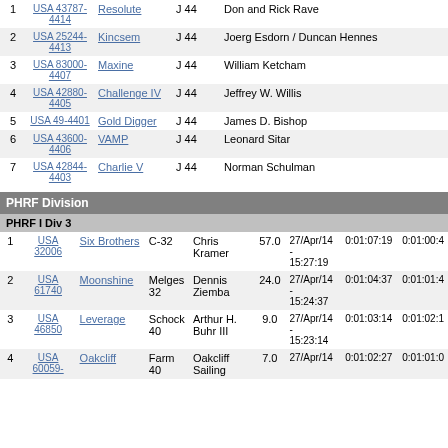| # | Sail | Boat | Class | Skipper |
| --- | --- | --- | --- | --- |
| 1 | USA 43787-4414 | Resolute | J 44 | Don and Rick Rave |
| 2 | USA 25244-4413 | Kincsem | J 44 | Joerg Esdorn / Duncan Hennes |
| 3 | USA 83000-4407 | Maxine | J 44 | William Ketcham |
| 4 | USA 42880-4405 | Challenge IV | J 44 | Jeffrey W. Willis |
| 5 | USA 49-4401 | Gold Digger | J 44 | James D. Bishop |
| 6 | USA 43600-4406 | VAMP | J 44 | Leonard Sitar |
| 7 | USA 42844-4403 | Charlie V | J 44 | Norman Schulman |
PHRF Division
PHRF I Div 3
| # | Sail | Boat | Class | Skipper | PHRF | Date | Elapsed | Corrected |
| --- | --- | --- | --- | --- | --- | --- | --- | --- |
| 1 | USA 32006 | Six Brothers | C-32 | Chris Kramer | 57.0 | 27/Apr/14 - 15:27:19 | 0:01:07:19 | 0:01:00:4 |
| 2 | USA 61740 | Moonshine | Melges 32 | Dennis Ziemba | 24.0 | 27/Apr/14 - 15:24:37 | 0:01:04:37 | 0:01:01:4 |
| 3 | USA 46850 | Leverage | Schock 40 | Arthur H. Buhr III | 9.0 | 27/Apr/14 - 15:23:14 | 0:01:03:14 | 0:01:02:1 |
| 4 | USA 60059- | Oakcliff | Farm 40 | Oakcliff Sailing | 7.0 | 27/Apr/14 | 0:01:02:27 | 0:01:01:0 |